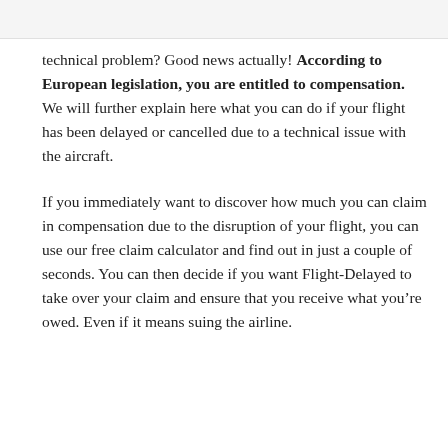technical problem? Good news actually! According to European legislation, you are entitled to compensation. We will further explain here what you can do if your flight has been delayed or cancelled due to a technical issue with the aircraft.
If you immediately want to discover how much you can claim in compensation due to the disruption of your flight, you can use our free claim calculator and find out in just a couple of seconds. You can then decide if you want Flight-Delayed to take over your claim and ensure that you receive what you’re owed. Even if it means suing the airline.